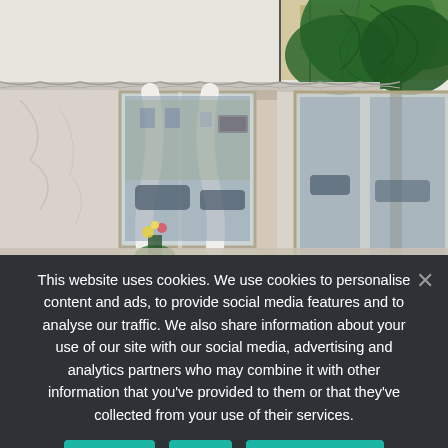[Figure (photo): Interior of an upscale restaurant or café showing white marble walls, ornate ceiling molding, white curtain drapes by large windows, a large green tropical plant (olive tree) in the upper right, decorative embossed ceiling tiles, and views to a city street outside.]
This website uses cookies. We use cookies to personalise content and ads, to provide social media features and to analyse our traffic. We also share information about your use of our site with our social media, advertising and analytics partners who may combine it with other information that you've provided to them or that they've collected from your use of their services.
Accept
No
Privacy policy